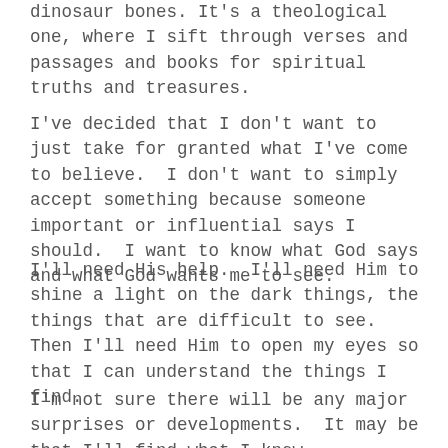dinosaur bones. It's a theological one, where I sift through verses and passages and books for spiritual truths and treasures.
I've decided that I don't want to just take for granted what I've come to believe.  I don't want to simply accept something because someone important or influential says I should.  I want to know what God says and what God wants me to see.
I'll need His help.  I'll need Him to shine a light on the dark things, the things that are difficult to see.  Then I'll need Him to open my eyes so that I can understand the things I find.
I'm not sure there will be any major surprises or developments.  It may be that I'll find what I knew